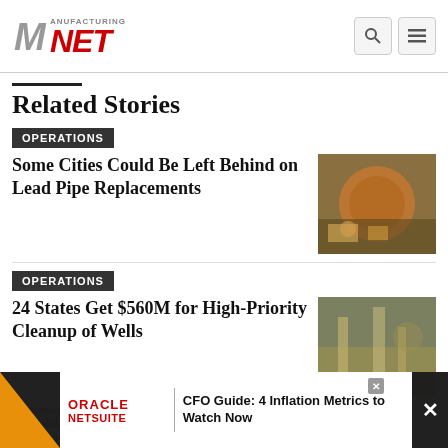Manufacturing.NET
Related Stories
OPERATIONS
Some Cities Could Be Left Behind on Lead Pipe Replacements
[Figure (photo): Workers with copper pipe coil at a construction site]
OPERATIONS
24 States Get $560M for High-Priority Cleanup of Wells
[Figure (photo): Industrial pipes and equipment at an outdoor site]
OPERA
Prep For the Processes: Pump...
[Figure (infographic): Oracle NetSuite advertisement: CFO Guide: 4 Inflation Metrics to Watch Now]